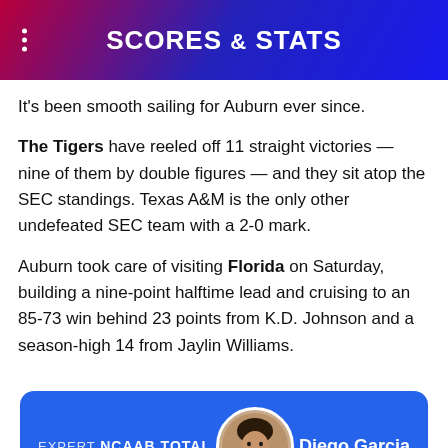SCORES & STATS
It's been smooth sailing for Auburn ever since.
The Tigers have reeled off 11 straight victories — nine of them by double figures — and they sit atop the SEC standings. Texas A&M is the only other undefeated SEC team with a 2-0 mark.
Auburn took care of visiting Florida on Saturday, building a nine-point halftime lead and cruising to an 85-73 win behind 23 points from K.D. Johnson and a season-high 14 from Jaylin Williams.
[Figure (infographic): Expert NCAAB TOTAL card featuring a photo of Diego Garcia]